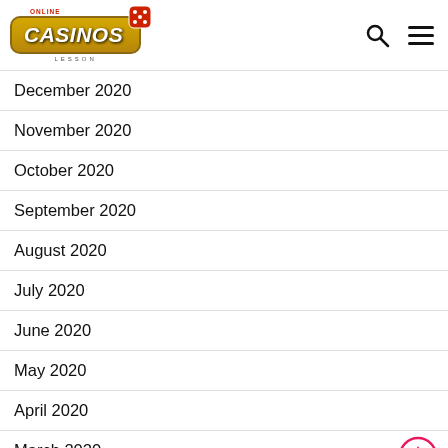Online Casinos Lesson
December 2020
November 2020
October 2020
September 2020
August 2020
July 2020
June 2020
May 2020
April 2020
March 2020
February 2020